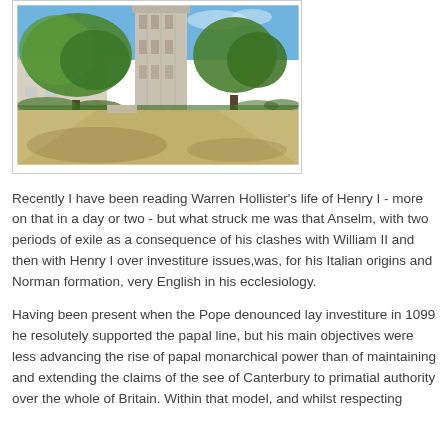[Figure (photo): Photograph of a medieval stone tower (likely a church or abbey tower) surrounded by green trees under a blue sky, with a stone building visible to the left and a courtyard/path in the foreground.]
Recently I have been reading Warren Hollister's life of Henry I - more on that in a day or two - but what struck me was that Anselm, with two periods of exile as a consequence of his clashes with William II and then with Henry I over investiture issues,was, for his Italian origins and Norman formation, very English in his ecclesiology.
Having been present when the Pope denounced lay investiture in 1099 he resolutely supported the papal line, but his main objectives were less advancing the rise of papal monarchical power than of maintaining and extending the claims of the see of Canterbury to primatial authority over the whole of Britain. Within that model, and whilst respecting